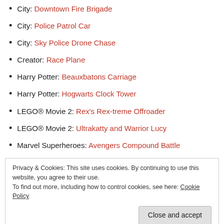City: Downtown Fire Brigade
City: Police Patrol Car
City: Sky Police Drone Chase
Creator: Race Plane
Harry Potter: Beauxbatons Carriage
Harry Potter: Hogwarts Clock Tower
LEGO® Movie 2: Rex's Rex-treme Offroader
LEGO® Movie 2: Ultrakatty and Warrior Lucy
Marvel Superheroes: Avengers Compound Battle
Marvel Superheroes: Menace of Mysterio
Overwatch: D.Va VS Reinhardt
Overwatch: Watchpoint – Gibraltar
Privacy & Cookies: This site uses cookies. By continuing to use this website, you agree to their use.
To find out more, including how to control cookies, see here: Cookie Policy
Technic: Car Transporter